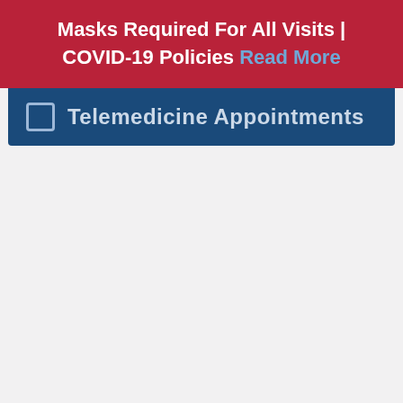Masks Required For All Visits | COVID-19 Policies Read More
Telemedicine Appointments